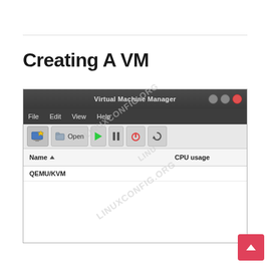Creating A VM
[Figure (screenshot): Virtual Machine Manager application window showing title bar with 'Virtual Machine Manager', menu bar with File, Edit, View, Help, toolbar with icons, column headers 'Name' and 'CPU usage', and a list item 'QEMU/KVM'. A LINUXCONFIG.ORG watermark is overlaid on the screenshot.]